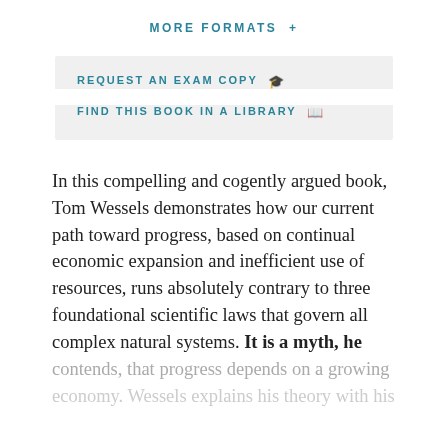MORE FORMATS +
REQUEST AN EXAM COPY 🎓
FIND THIS BOOK IN A LIBRARY 📖
In this compelling and cogently argued book, Tom Wessels demonstrates how our current path toward progress, based on continual economic expansion and inefficient use of resources, runs absolutely contrary to three foundational scientific laws that govern all complex natural systems. It is a myth, he contends, that progress depends on a growing economy. Wessels explains his theory with his...